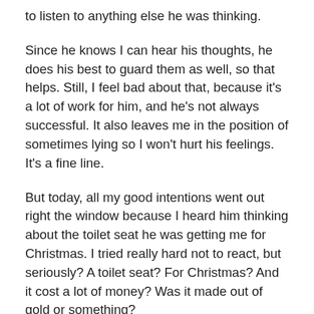to listen to anything else he was thinking.
Since he knows I can hear his thoughts, he does his best to guard them as well, so that helps. Still, I feel bad about that, because it’s a lot of work for him, and he’s not always successful. It also leaves me in the position of sometimes lying so I won’t hurt his feelings. It’s a fine line.
But today, all my good intentions went out right the window because I heard him thinking about the toilet seat he was getting me for Christmas. I tried really hard not to react, but seriously? A toilet seat? For Christmas? And it cost a lot of money? Was it made out of gold or something?
“You’re joking, right?” I blurted.
“What?” Then it hit him that I’d heard all about the toilet seat. He took a deep breath and swore in his mind. Which